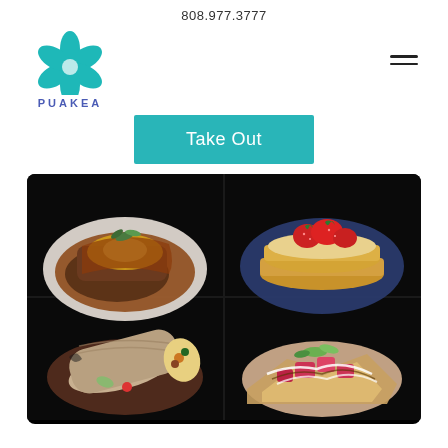808.977.3777
[Figure (logo): Puakea restaurant logo: teal flower/leaf graphic with text PUAKEA below in blue-purple letters]
Take Out
[Figure (photo): Four food photos on dark background: top-left shows a loco moco style dish with gravy and egg; top-right shows pancakes with strawberries; bottom-left shows a breakfast burrito; bottom-right shows ahi tuna poke nachos]